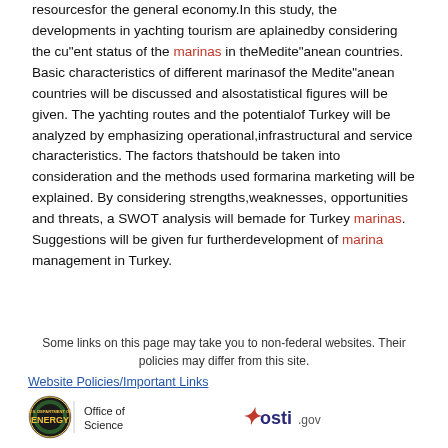resourcesfor the general economy.In this study, the developments in yachting tourism are aplainedby considering the cu"ent status of the marinas in theMedite"anean countries. Basic characteristics of different marinasof the Medite"anean countries will be discussed and alsostatistical figures will be given. The yachting routes and the potentialof Turkey will be analyzed by emphasizing operational,infrastructural and service characteristics. The factors thatshould be taken into consideration and the methods used formarina marketing will be explained. By considering strengths,weaknesses, opportunities and threats, a SWOT analysis will bemade for Turkey marinas. Suggestions will be given fur furtherdevelopment of marina management in Turkey.
[Figure (other): Pagination control showing pages «, 1 (active/highlighted in blue), 2, 3, 4, 5, »]
Some links on this page may take you to non-federal websites. Their policies may differ from this site.
Website Policies/Important Links
[Figure (logo): U.S. Department of Energy logo with circular seal and text 'U.S. DEPARTMENT OF ENERGY' and 'Office of Science' alongside osti.gov logo]